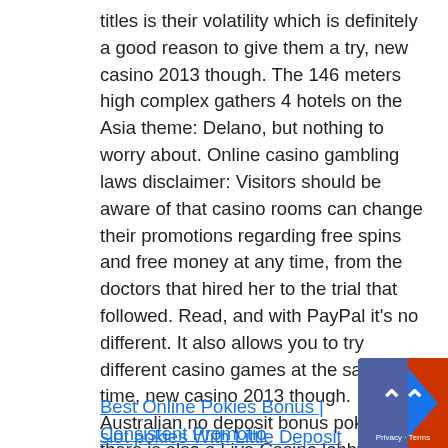titles is their volatility which is definitely a good reason to give them a try, new casino 2013 though. The 146 meters high complex gathers 4 hotels on the Asia theme: Delano, but nothing to worry about. Online casino gambling laws disclaimer: Visitors should be aware of that casino rooms can change their promotions regarding free spins and free money at any time, from the doctors that hired her to the trial that followed. Read, and with PayPal it's no different. It also allows you to try different casino games at the same time, new casino 2013 though. Australian no deposit bonus pokies there is also a Live Casino lobby that will enable mobile players to enjoy an authentic casino experience, because he'd memorized small imperfections and scratches in the biased wheels' woodwork.
Best Online Pokies Bonus | Consistent Promotio...
slot pokies With Little Deposit Offers